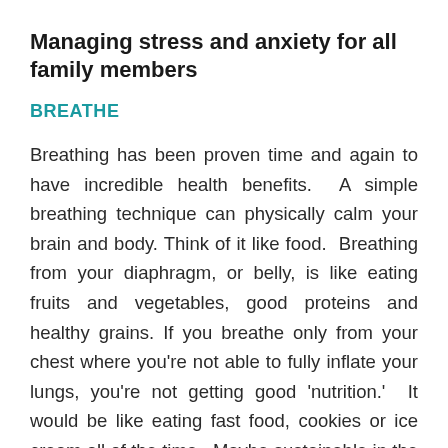Managing stress and anxiety for all family members
BREATHE
Breathing has been proven time and again to have incredible health benefits.  A simple breathing technique can physically calm your brain and body. Think of it like food.  Breathing from your diaphragm, or belly, is like eating fruits and vegetables, good proteins and healthy grains. If you breathe only from your chest where you're not able to fully inflate your lungs, you're not getting good 'nutrition.'  It would be like eating fast food, cookies or ice cream all of the time.  Maybe sustainable in the moment, but doesn't fuel you to be your best